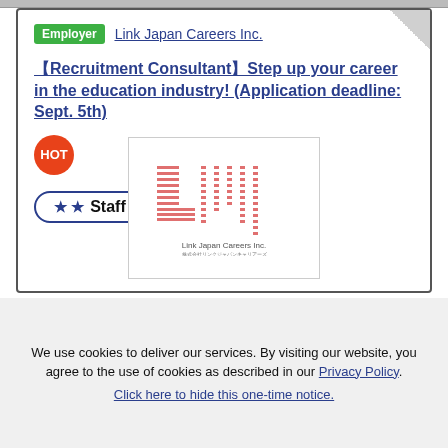Employer  Link Japan Careers Inc.
【Recruitment Consultant】Step up your career in the education industry! (Application deadline: Sept. 5th)
HOT
★★ Staff Level
[Figure (logo): Link Japan Careers Inc. logo — stylized pink/salmon LM letters made of horizontal and vertical bar stripes, with company name below in small text.]
We use cookies to deliver our services. By visiting our website, you agree to the use of cookies as described in our Privacy Policy. Click here to hide this one-time notice.